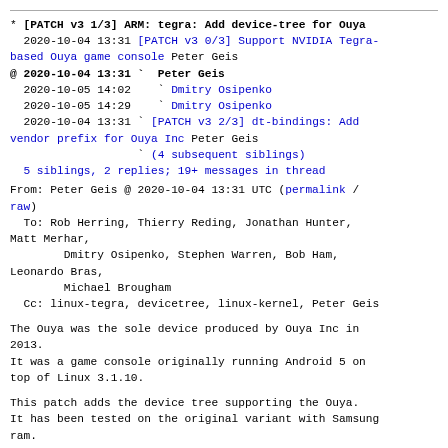* [PATCH v3 1/3] ARM: tegra: Add device-tree for Ouya
  2020-10-04 13:31 [PATCH v3 0/3] Support NVIDIA Tegra-based Ouya game console Peter Geis
@ 2020-10-04 13:31 ` Peter Geis
  2020-10-05 14:02   ` Dmitry Osipenko
  2020-10-05 14:29   ` Dmitry Osipenko
  2020-10-04 13:31 ` [PATCH v3 2/3] dt-bindings: Add vendor prefix for Ouya Inc Peter Geis
                   ` (4 subsequent siblings)
  5 siblings, 2 replies; 19+ messages in thread
From: Peter Geis @ 2020-10-04 13:31 UTC (permalink / raw)
  To: Rob Herring, Thierry Reding, Jonathan Hunter, Matt Merhar,
        Dmitry Osipenko, Stephen Warren, Bob Ham, Leonardo Bras,
        Michael Brougham
  Cc: linux-tegra, devicetree, linux-kernel, Peter Geis
The Ouya was the sole device produced by Ouya Inc in 2013.
It was a game console originally running Android 5 on top of Linux 3.1.10.
This patch adds the device tree supporting the Ouya.
It has been tested on the original variant with Samsung ram.